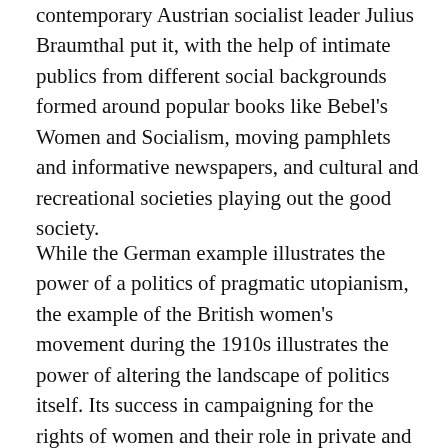contemporary Austrian socialist leader Julius Braumthal put it, with the help of intimate publics from different social backgrounds formed around popular books like Bebel's Women and Socialism, moving pamphlets and informative newspapers, and cultural and recreational societies playing out the good society.
While the German example illustrates the power of a politics of pragmatic utopianism, the example of the British women's movement during the 1910s illustrates the power of altering the landscape of politics itself. Its success in campaigning for the rights of women and their role in private and public life was the result of such reinvention, which forced the establishment and a patriarchal legacy into a new